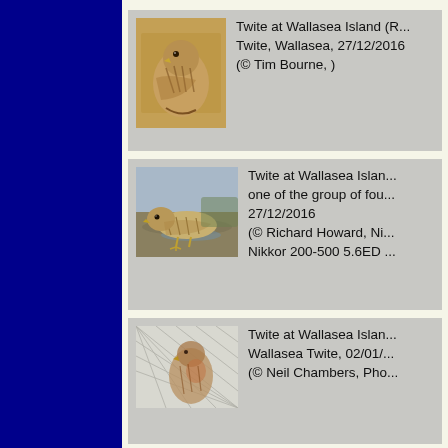[Figure (photo): Photo of a Twite bird perched, brown streaked plumage, warm golden-brown background]
Twite at Wallasea Island (R... Twite, Wallasea, 27/12/2016 (© Tim Bourne, )
[Figure (photo): Photo of a Twite bird standing on wet ground, streaked brown plumage]
Twite at Wallasea Islan... one of the group of fou... 27/12/2016 (© Richard Howard, Ni... Nikkor 200-500 5.6ED ...
[Figure (photo): Photo of a Twite bird behind mesh/netting, muted tones]
Twite at Wallasea Islan... Wallasea Twite, 02/01/... (© Neil Chambers, Pho...